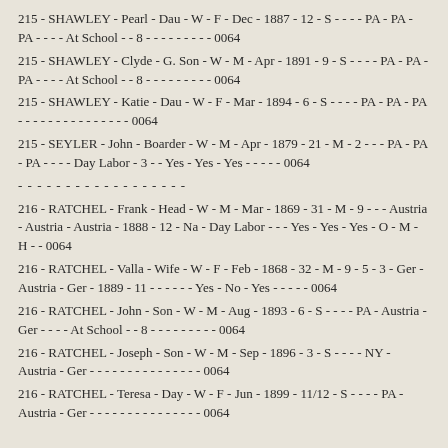215 - SHAWLEY - Pearl - Dau - W - F - Dec - 1887 - 12 - S - - - - PA - PA - PA - - - - At School - - 8 - - - - - - - - - 0064
215 - SHAWLEY - Clyde - G. Son - W - M - Apr - 1891 - 9 - S - - - - PA - PA - PA - - - - At School - - 8 - - - - - - - - - 0064
215 - SHAWLEY - Katie - Dau - W - F - Mar - 1894 - 6 - S - - - - PA - PA - PA - - - - - - - - - - - - - - - 0064
215 - SEYLER - John - Boarder - W - M - Apr - 1879 - 21 - M - 2 - - - PA - PA - PA - - - - Day Labor - 3 - - Yes - Yes - Yes - - - - - 0064
- - - - - - - - - - - - - - - - - -
216 - RATCHEL - Frank - Head - W - M - Mar - 1869 - 31 - M - 9 - - - Austria - Austria - Austria - 1888 - 12 - Na - Day Labor - - - Yes - Yes - Yes - O - M - H - - 0064
216 - RATCHEL - Valla - Wife - W - F - Feb - 1868 - 32 - M - 9 - 5 - 3 - Ger - Austria - Ger - 1889 - 11 - - - - - - Yes - No - Yes - - - - - 0064
216 - RATCHEL - John - Son - W - M - Aug - 1893 - 6 - S - - - - PA - Austria - Ger - - - - At School - - 8 - - - - - - - - - 0064
216 - RATCHEL - Joseph - Son - W - M - Sep - 1896 - 3 - S - - - - NY - Austria - Ger - - - - - - - - - - - - - - - 0064
216 - RATCHEL - Teresa - Day - W - F - Jun - 1899 - 11/12 - S - - - - PA - Austria - Ger - - - - - - - - - - - - - - - 0064